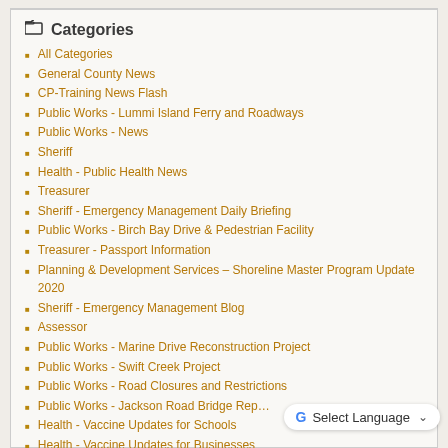Categories
All Categories
General County News
CP-Training News Flash
Public Works - Lummi Island Ferry and Roadways
Public Works - News
Sheriff
Health - Public Health News
Treasurer
Sheriff - Emergency Management Daily Briefing
Public Works - Birch Bay Drive & Pedestrian Facility
Treasurer - Passport Information
Planning & Development Services – Shoreline Master Program Update 2020
Sheriff - Emergency Management Blog
Assessor
Public Works - Marine Drive Reconstruction Project
Public Works - Swift Creek Project
Public Works - Road Closures and Restrictions
Public Works - Jackson Road Bridge Rep…
Health - Vaccine Updates for Schools
Health - Vaccine Updates for Businesses